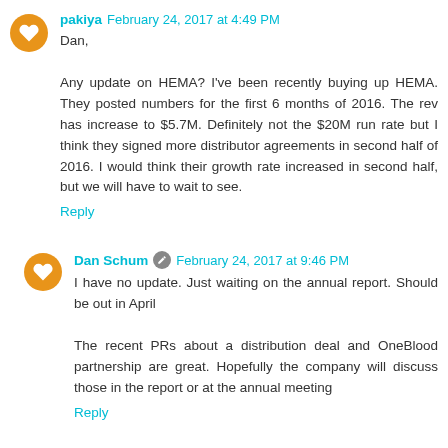pakiya  February 24, 2017 at 4:49 PM
Dan,

Any update on HEMA? I've been recently buying up HEMA. They posted numbers for the first 6 months of 2016. The rev has increase to $5.7M. Definitely not the $20M run rate but I think they signed more distributor agreements in second half of 2016. I would think their growth rate increased in second half, but we will have to wait to see.
Reply
Dan Schum  February 24, 2017 at 9:46 PM
I have no update. Just waiting on the annual report. Should be out in April

The recent PRs about a distribution deal and OneBlood partnership are great. Hopefully the company will discuss those in the report or at the annual meeting
Reply